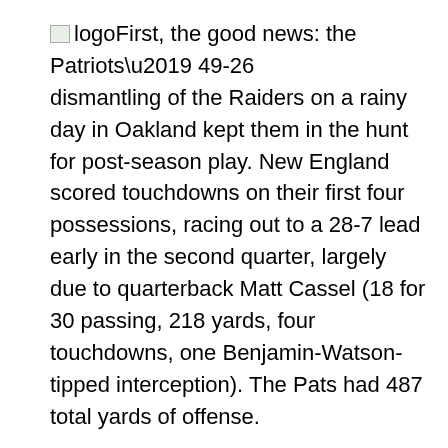logoFirst, the good news: the Patriots’ 49-26 dismantling of the Raiders on a rainy day in Oakland kept them in the hunt for post-season play. New England scored touchdowns on their first four possessions, racing out to a 28-7 lead early in the second quarter, largely due to quarterback Matt Cassel (18 for 30 passing, 218 yards, four touchdowns, one Benjamin-Watson-tipped interception). The Pats had 487 total yards of offense.
This game was almost the opposite of last week’s tense-off at Seattle. When the Patriots went up 42-14 at the beginning of the third, fans sat back and sighed in relief. New England stayed in contention with a 9-5 record, nominally tied atop the AFC East